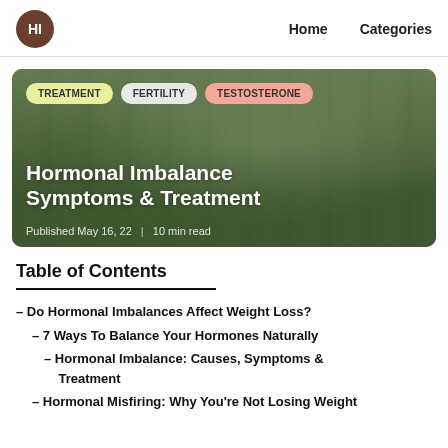HI  Home  Categories
[Figure (photo): Hero image of a woman in a white dress on a grassy field with trees, overlaid with category tags: TREATMENT, FERTILITY, TESTOSTERONE, article title 'Hormonal Imbalance Symptoms & Treatment', and metadata 'Published May 16, 22 | 10 min read']
Table of Contents
– Do Hormonal Imbalances Affect Weight Loss?
– 7 Ways To Balance Your Hormones Naturally
– Hormonal Imbalance: Causes, Symptoms & Treatment
– Hormonal Misfiring: Why You're Not Losing Weight